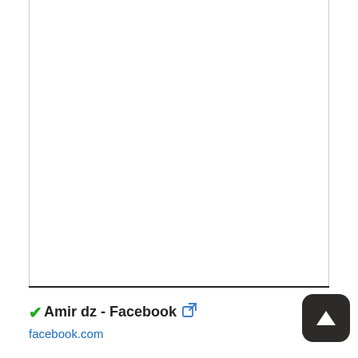✔Amir dz - Facebook 🔗
facebook.com